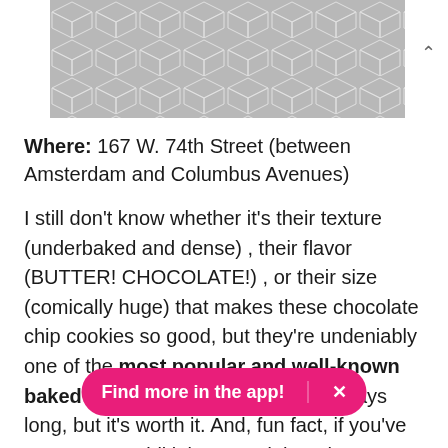[Figure (illustration): Grey geometric hexagonal/diamond tessellation pattern banner image]
Where: 167 W. 74th Street (between Amsterdam and Columbus Avenues)
I still don't know whether it's their texture (underbaked and dense) , their flavor (BUTTER! CHOCOLATE!) , or their size (comically huge) that makes these chocolate chip cookies so good, but they're undeniably one of the most popular and well-known baked goods in NYC. The line is always long, but it's worth it. And, fun fact, if you've ever gotten a bikini wax and thought, "You know, this would b... m was filled with the smell of 1000 freshly baked
[Figure (screenshot): Pink/magenta pill-shaped app promotion banner reading 'Find more in the app!' with an X close button]